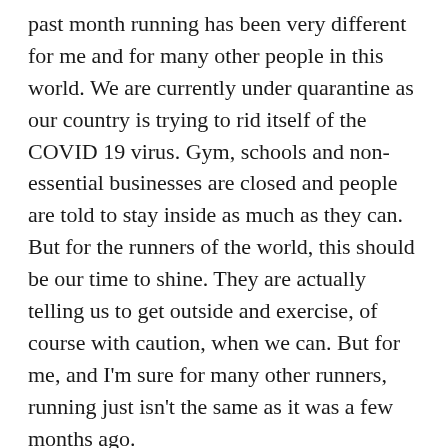past month running has been very different for me and for many other people in this world. We are currently under quarantine as our country is trying to rid itself of the COVID 19 virus. Gym, schools and non- essential businesses are closed and people are told to stay inside as much as they can. But for the runners of the world, this should be our time to shine. They are actually telling us to get outside and exercise, of course with caution, when we can. But for me, and I'm sure for many other runners, running just isn't the same as it was a few months ago.
While I still get my daily runs in, there is nothing pushing me to lace up my